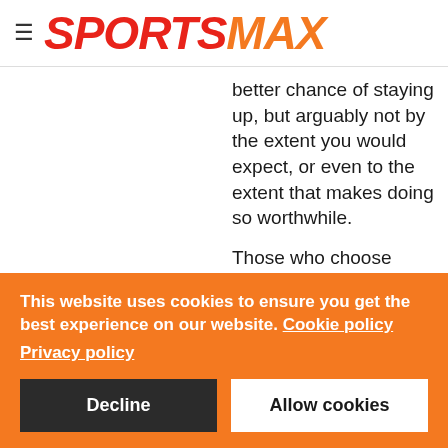SPORTSMAX
better chance of staying up, but arguably not by the extent you would expect, or even to the extent that makes doing so worthwhile.
Those who choose
This website uses cookies to ensure you get the best experience on our website. Cookie policy
Privacy policy
Decline
Allow cookies